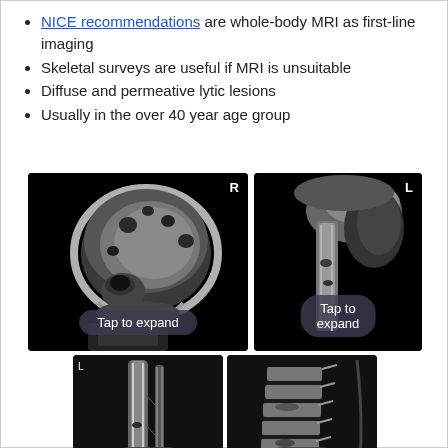NICE recommendations are whole-body MRI as first-line imaging
Skeletal surveys are useful if MRI is unsuitable
Diffuse and permeative lytic lesions
Usually in the over 40 year age group
[Figure (photo): X-ray image of a skull showing lytic lesions with 'Tap to expand' overlay. Marker 'R' visible top right.]
[Figure (photo): X-ray image of a shoulder/upper arm bone with 'Tap to expand' overlay. Marker 'L' visible top right.]
[Figure (photo): X-ray image of a long bone (tibia/fibula) with 'Tap to expand' overlay.]
[Figure (photo): X-ray image of lumbar spine/pelvis lateral view with 'Tap to expand' overlay.]